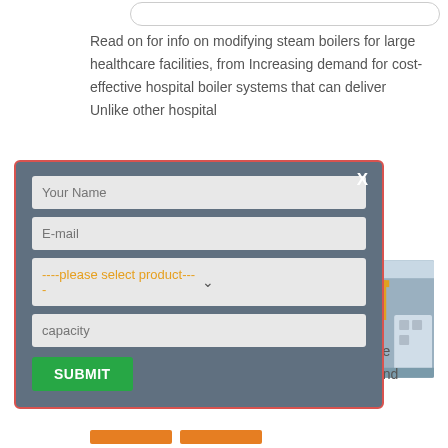Read on for info on modifying steam boilers for large healthcare facilities, from Increasing demand for cost-effective hospital boiler systems that can deliver Unlike other hospital
nt role in facility
More
[Figure (photo): Industrial boiler equipment in a factory facility with yellow piping and a large blue cylindrical vessel]
Your Name
E-mail
----please select product----
capacity
SUBMIT
An operating room will have a map to enable the terminal cleaner to realign the operating table and equipment